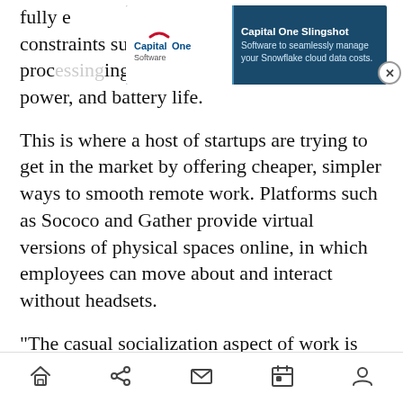fully e... constraints such as limited display size, processing power, and battery life.
[Figure (screenshot): Capital One Slingshot advertisement banner with Capital One Software logo and text: 'Software to seamlessly manage your Snowflake cloud data costs.' with a close (X) button.]
This is where a host of startups are trying to get in the market by offering cheaper, simpler ways to smooth remote work. Platforms such as Sococo and Gather provide virtual versions of physical spaces online, in which employees can move about and interact without headsets.
“The casual socialization aspect of work is hard to get when you’re doing everything over Google Meet or Zoom,” said Phillip Wang, who founded Gather with his university friends.
Navigation bar with home, share, mail, calendar, and profile icons